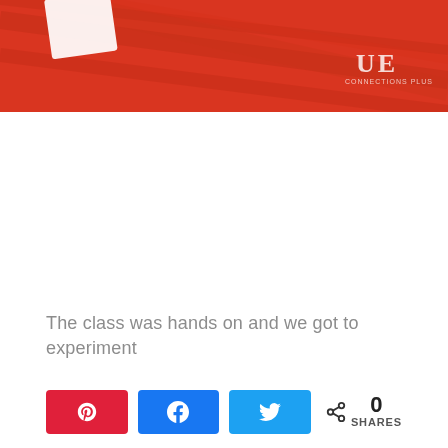[Figure (photo): Top portion of a photo showing red/orange fabric or material with a white card/paper in the upper left corner and a small 'UE' watermark logo in the upper right area]
The class was hands on and we got to experiment
0 SHARES